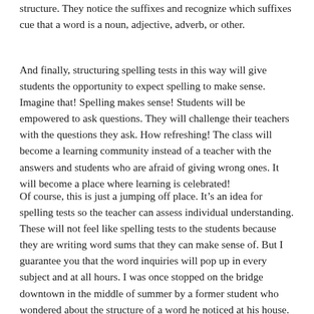structure.  They notice the suffixes and recognize which suffixes cue that a word is a noun, adjective, adverb, or other.
And finally, structuring spelling tests in this way will give students the opportunity to expect spelling to make sense.  Imagine that!  Spelling makes sense!  Students will be empowered to ask questions.  They will challenge their teachers with the questions they ask.  How refreshing!  The class will become a learning community instead of a teacher with the answers and students who are afraid of giving wrong ones.  It will become a place where learning is celebrated!
Of course, this is just a jumping off place.  It’s an idea for spelling tests so the teacher can assess individual understanding.  These will not feel like spelling tests to the students because they are writing word sums that they can make sense of.  But I guarantee you that the word inquiries will pop up in every subject and at all hours.  I was once stopped on the bridge downtown in the middle of summer by a former student who wondered about the structure of a word he noticed at his house.  What could be